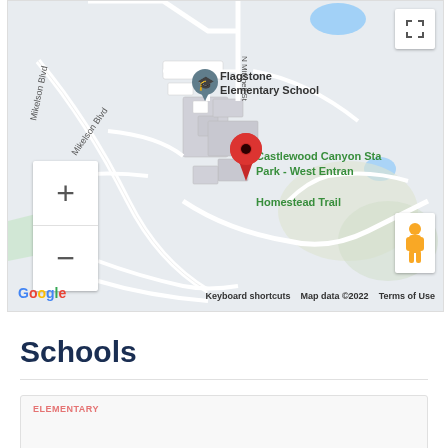[Figure (map): Google Maps screenshot showing Flagstone Elementary School area with Castlewood Canyon State Park - West Entrance and Homestead Trail visible. A red location pin is placed on the map. Map controls include zoom in/out buttons, fullscreen button, and Street View pegman. Google logo and map data attribution (©2022) visible at bottom.]
Schools
ELEMENTARY